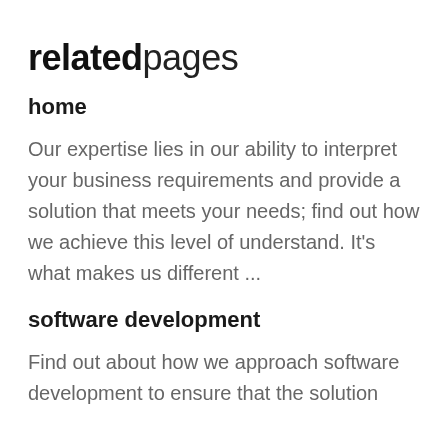relatedpages
home
Our expertise lies in our ability to interpret your business requirements and provide a solution that meets your needs; find out how we achieve this level of understand. It's what makes us different ...
software development
Find out about how we approach software development to ensure that the solution